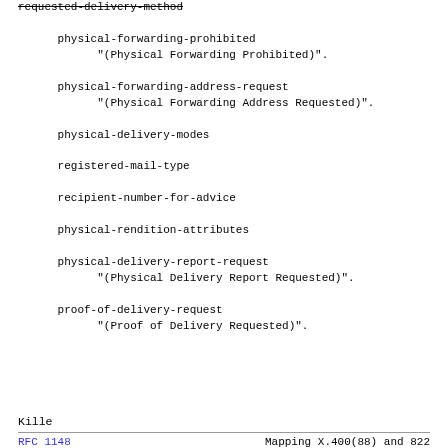requested-delivery-method
      physical-forwarding-prohibited
            "(Physical Forwarding Prohibited)".
      physical-forwarding-address-request
            "(Physical Forwarding Address Requested)".
      physical-delivery-modes
      registered-mail-type
      recipient-number-for-advice
      physical-rendition-attributes
      physical-delivery-report-request
            "(Physical Delivery Report Requested)".
      proof-of-delivery-request
            "(Proof of Delivery Requested)".
Kille                                                                RFC 1148                    Mapping X.400(88) and 822